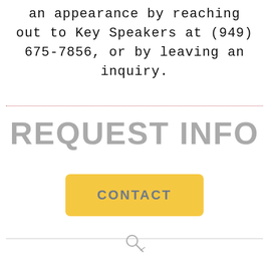an appearance by reaching out to Key Speakers at (949) 675-7856, or by leaving an inquiry.
REQUEST INFO
[Figure (other): Yellow 'CONTACT' button with rounded corners on a white background]
[Figure (other): Search/key icon at the bottom center of the page, with a thin gray horizontal divider line]